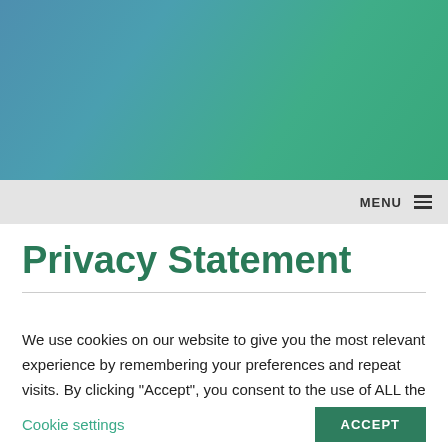[Figure (illustration): Blue-to-green gradient hero banner background]
MENU ≡
Privacy Statement
We use cookies on our website to give you the most relevant experience by remembering your preferences and repeat visits. By clicking "Accept", you consent to the use of ALL the cookies. Privacy Statement | Website Terms of Use
Cookie settings | ACCEPT